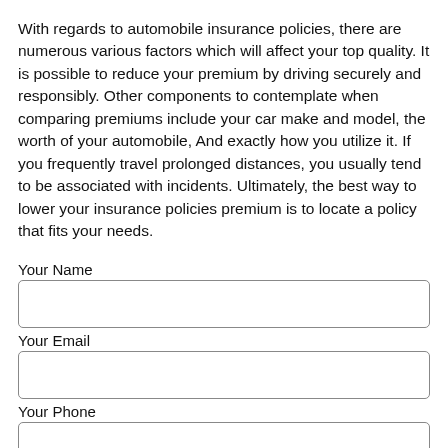With regards to automobile insurance policies, there are numerous various factors which will affect your top quality. It is possible to reduce your premium by driving securely and responsibly. Other components to contemplate when comparing premiums include your car make and model, the worth of your automobile, And exactly how you utilize it. If you frequently travel prolonged distances, you usually tend to be associated with incidents. Ultimately, the best way to lower your insurance policies premium is to locate a policy that fits your needs.
Your Name
Your Email
Your Phone